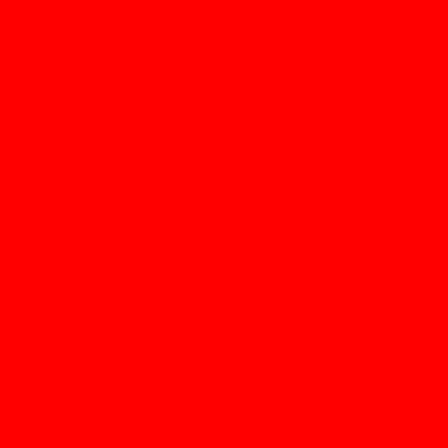[Figure (other): Solid red background filling the entire page with no text or other content visible.]